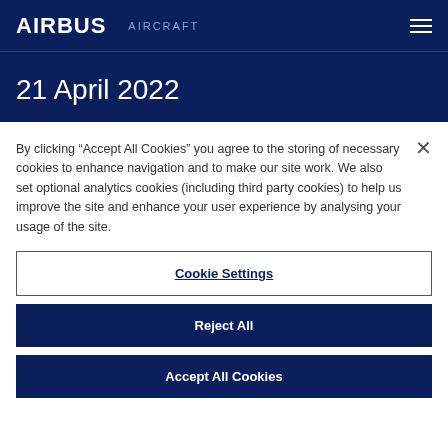AIRBUS  AIRCRAFT
21 April 2022
By clicking “Accept All Cookies” you agree to the storing of necessary cookies to enhance navigation and to make our site work. We also set optional analytics cookies (including third party cookies) to help us improve the site and enhance your user experience by analysing your usage of the site.
Cookie Settings
Reject All
Accept All Cookies